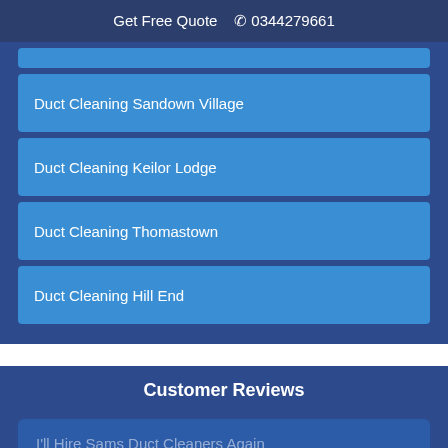Get Free Quote  📞 0344279661
Duct Cleaning Sandown Village
Duct Cleaning Keilor Lodge
Duct Cleaning Thomastown
Duct Cleaning Hill End
Customer Reviews
I'll Hire Sams Duct Cleaners Again